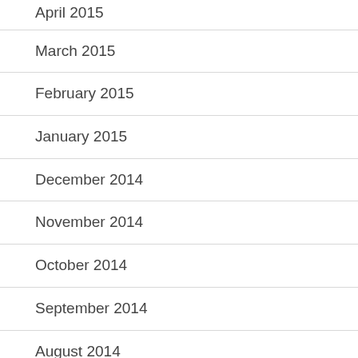April 2015
March 2015
February 2015
January 2015
December 2014
November 2014
October 2014
September 2014
August 2014
July 2014
June 2014
May 2014